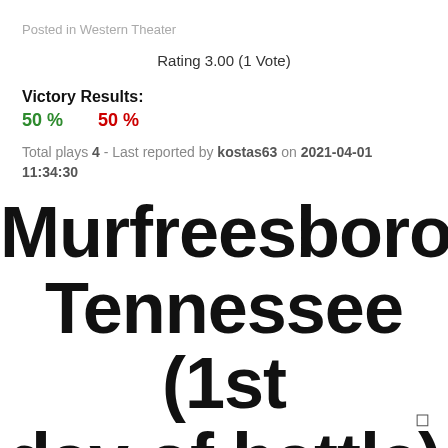Posted in Western Theater
Rating 3.00 (1 Vote)
Victory Results:
50 %   50 %
Total plays 4 - Last reported by kostas63 on 2021-04-01 11:34:30
Murfreesboro, Tennessee (1st day of battle) Dec. 31-Jan. 2, 1863